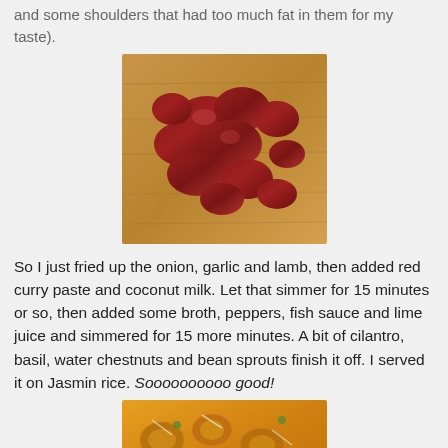and some shoulders that had too much fat in them for my taste).
[Figure (photo): Raw lamb pieces cut into chunks on a wooden cutting board]
So I just fried up the onion, garlic and lamb, then added red curry paste and coconut milk. Let that simmer for 15 minutes or so, then added some broth, peppers, fish sauce and lime juice and simmered for 15 more minutes. A bit of cilantro, basil, water chestnuts and bean sprouts finish it off. I served it on Jasmin rice. Soooooooooo good!
[Figure (photo): Finished lamb curry dish with vegetables and bean sprouts in a yellow sauce]